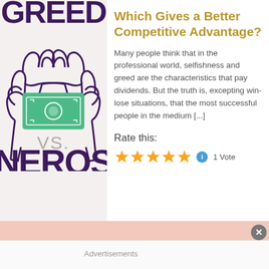[Figure (illustration): Stylized illustration of two hands holding a green banknote/money bill, drawn in purple outline style. Below the hands is the text 'VS.' in gray, and below that 'NEROS' in large dark purple bold text. The top shows partial text 'GREED' cut off.]
Which Gives a Better Competitive Advantage?
Many people think that in the professional world, selfishness and greed are the characteristics that pay dividends. But the truth is, excepting win-lose situations, that the most successful people in the medium [...]
Rate this:
1 Vote
Advertisements